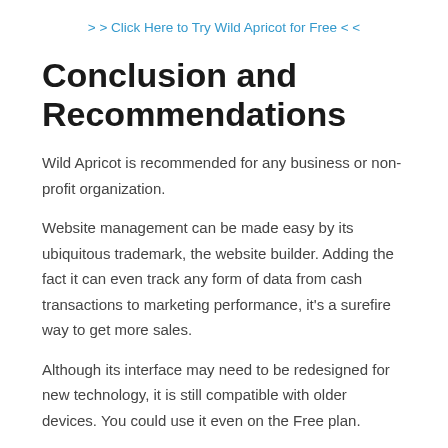> > Click Here to Try Wild Apricot for Free < <
Conclusion and Recommendations
Wild Apricot is recommended for any business or non-profit organization.
Website management can be made easy by its ubiquitous trademark, the website builder. Adding the fact it can even track any form of data from cash transactions to marketing performance, it's a surefire way to get more sales.
Although its interface may need to be redesigned for new technology, it is still compatible with older devices. You could use it even on the Free plan.
Frequently Asked Questions (FAQs).